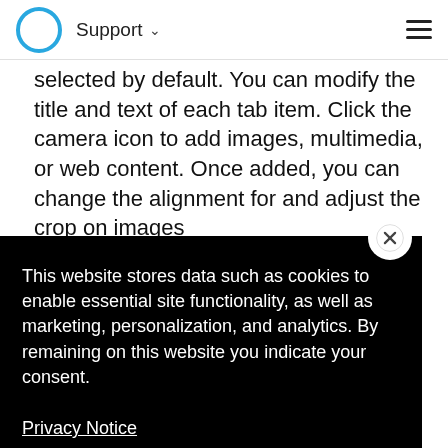Support
selected by default. You can modify the title and text of each tab item. Click the camera icon to add images, multimedia, or web content. Once added, you can change the alignment for and adjust the crop on images
This website stores data such as cookies to enable essential site functionality, as well as marketing, personalization, and analytics. By remaining on this website you indicate your consent.
Privacy Notice
additional tab er of items ou add to scroll left tab and grab the handle that appears. Drag the tab up